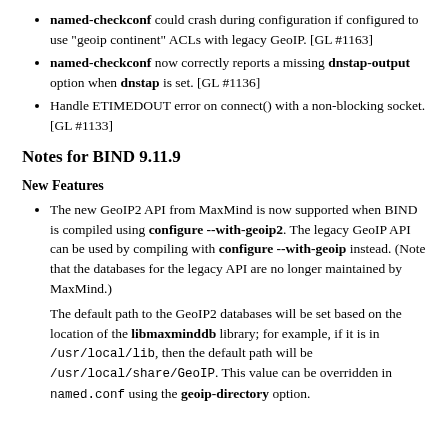named-checkconf could crash during configuration if configured to use "geoip continent" ACLs with legacy GeoIP. [GL #1163]
named-checkconf now correctly reports a missing dnstap-output option when dnstap is set. [GL #1136]
Handle ETIMEDOUT error on connect() with a non-blocking socket. [GL #1133]
Notes for BIND 9.11.9
New Features
The new GeoIP2 API from MaxMind is now supported when BIND is compiled using configure --with-geoip2. The legacy GeoIP API can be used by compiling with configure --with-geoip instead. (Note that the databases for the legacy API are no longer maintained by MaxMind.) The default path to the GeoIP2 databases will be set based on the location of the libmaxminddb library; for example, if it is in /usr/local/lib, then the default path will be /usr/local/share/GeoIP. This value can be overridden in named.conf using the geoip-directory option.